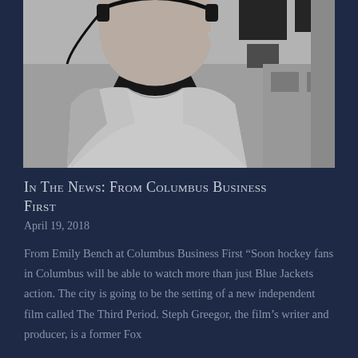[Figure (photo): Black and white close-up photograph of a person wearing a white jacket/coat and what appears to be a headset or headphones, shot from below chin level, with a blurred background.]
In The News: From Columbus Business First
April 19, 2018
From Emily Bench at Columbus Business First “Soon hockey fans in Columbus will be able to watch more than just Blue Jackets action. The city is going to be the setting of a new independent film called The Third Period. Steph Greegor, the film’s writer and producer, is a former Fox